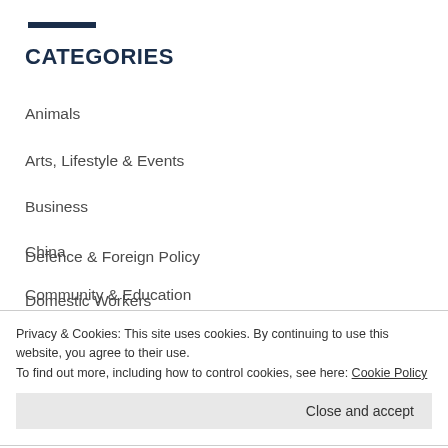CATEGORIES
Animals
Arts, Lifestyle & Events
Business
China
Community & Education
Defence & Foreign Policy
Domestic Workers
Privacy & Cookies: This site uses cookies. By continuing to use this website, you agree to their use.
To find out more, including how to control cookies, see here: Cookie Policy
Close and accept
HKFP Features